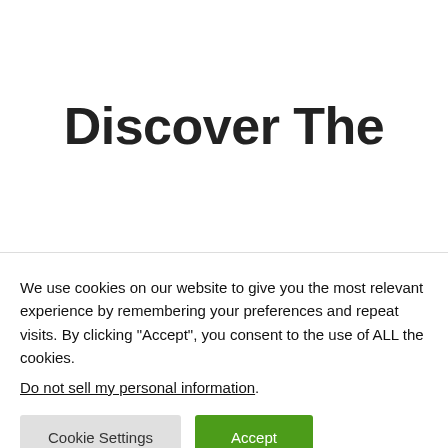Discover The
We use cookies on our website to give you the most relevant experience by remembering your preferences and repeat visits. By clicking “Accept”, you consent to the use of ALL the cookies.
Do not sell my personal information.
Cookie Settings  Accept